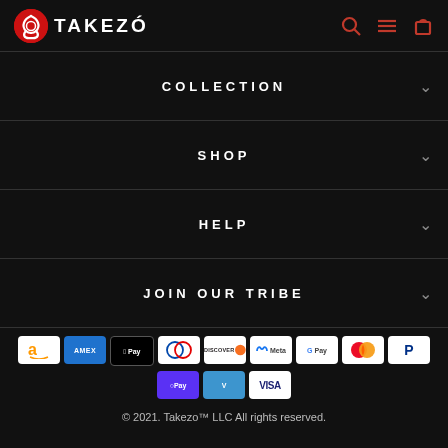TAKEZO logo with search, menu, cart icons
COLLECTION
SHOP
HELP
JOIN OUR TRIBE
[Figure (other): Payment method icons: Amazon, Amex, Apple Pay, Diners, Discover, Meta, Google Pay, Mastercard, PayPal, Shop Pay, Venmo, Visa]
© 2021. Takezo™ LLC All rights reserved.